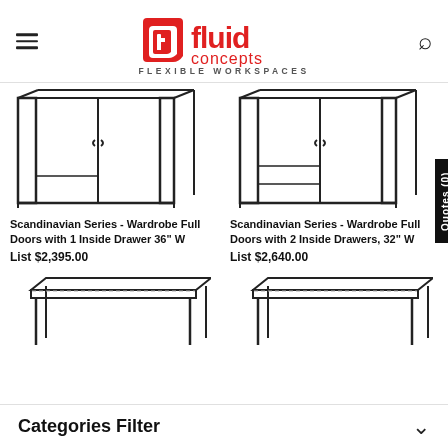[Figure (logo): Fluid Concepts logo with red stylized 'fc' icon and red bold text 'fluid concepts' with tagline 'FLEXIBLE WORKSPACES']
[Figure (illustration): Line drawing of Scandinavian Series wardrobe with full doors and 1 inside drawer, 36 inch width]
Scandinavian Series - Wardrobe Full Doors with 1 Inside Drawer 36" W
List $2,395.00
[Figure (illustration): Line drawing of Scandinavian Series wardrobe with full doors and 2 inside drawers, 32 inch width]
Scandinavian Series - Wardrobe Full Doors with 2 Inside Drawers, 32" W
List $2,640.00
[Figure (illustration): Line drawing of a desk/table surface with legs, bottom left product]
[Figure (illustration): Line drawing of a desk/table surface with legs, bottom right product]
Categories Filter